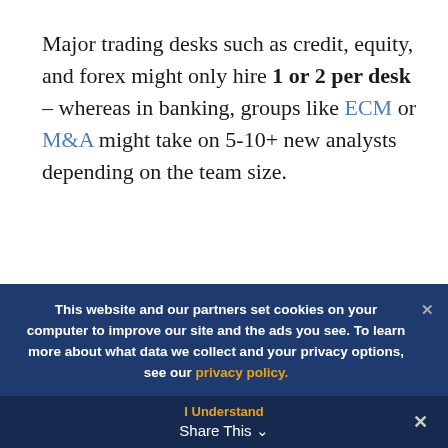Major trading desks such as credit, equity, and forex might only hire 1 or 2 per desk – whereas in banking, groups like ECM or M&A might take on 5-10+ new analysts depending on the team size.
With the 2010 financial reform, those numbers will shrink even further as banks disband their...
This website and our partners set cookies on your computer to improve our site and the ads you see. To learn more about what data we collect and your privacy options, see our privacy policy.
I Understand
Share This